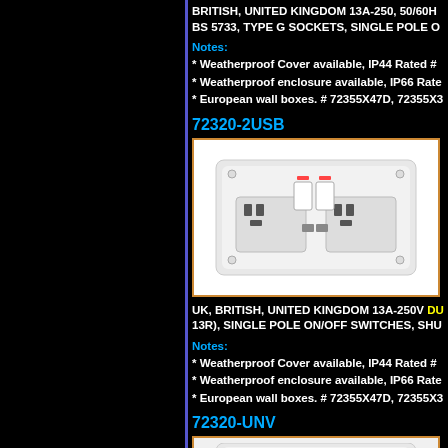BRITISH, UNITED KINGDOM 13A-250, 50/60HZ BS 5733, TYPE G SOCKETS, SINGLE POLE O...
Notes:
* Weatherproof Cover available, IP44 Rated #...
* Weatherproof enclosure available, IP66 Rate...
* European wall boxes. # 72355X47D, 72355X3...
72320-2USB
[Figure (photo): UK British double gang 13A socket outlet with dual USB charging ports and single pole on/off rocker switches, white plastic finish]
UK, BRITISH, UNITED KINGDOM 13A-250V DU... 13R), SINGLE POLE ON/OFF SWITCHES, SHU...
Notes:
* Weatherproof Cover available, IP44 Rated #...
* Weatherproof enclosure available, IP66 Rate...
* European wall boxes. # 72355X47D, 72355X3...
72320-UNV
[Figure (photo): UK British socket outlet universal type, white plastic finish, partially visible at bottom of page]